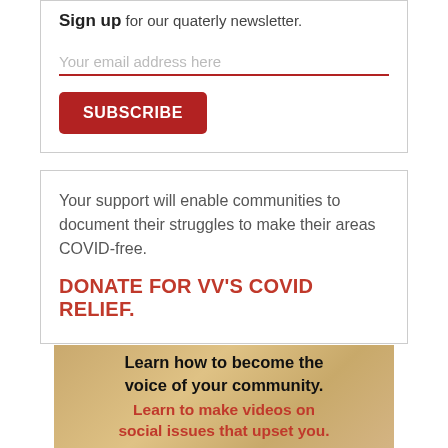Sign up for our quaterly newsletter.
Your email address here
SUBSCRIBE
Your support will enable communities to document their struggles to make their areas COVID-free.
DONATE FOR VV'S COVID RELIEF.
[Figure (infographic): Tan/parchment-colored banner with bold black text 'Learn how to become the voice of your community.' and red bold text 'Learn to make videos on social issues that upset you.']